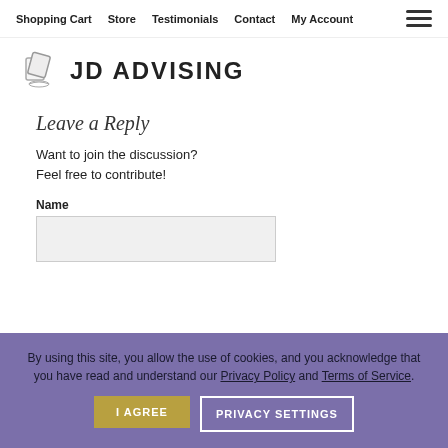Shopping Cart  Store  Testimonials  Contact  My Account
[Figure (logo): JD Advising logo with book/diploma icon and text 'JD ADVISING']
Leave a Reply
Want to join the discussion?
Feel free to contribute!
Name
By using this site, you allow the use of cookies, and you acknowledge that you have read and understand our Privacy Policy and Terms of Service.
I AGREE  PRIVACY SETTINGS